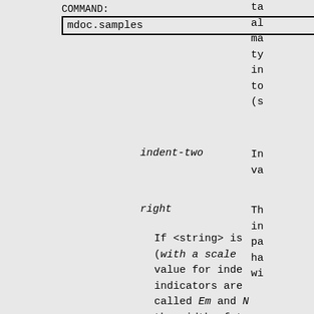COMMAND: mdoc.samples
SECTION: 7 - Miscellaneous Information Pa
ta al ma ty in to (s
indent-two
In va
right
Th in pa ha wi
If <string> is (with a scale value for inde indicators are called Em and the width of t of the current indicators give isn't a numeri it is an -mdoc